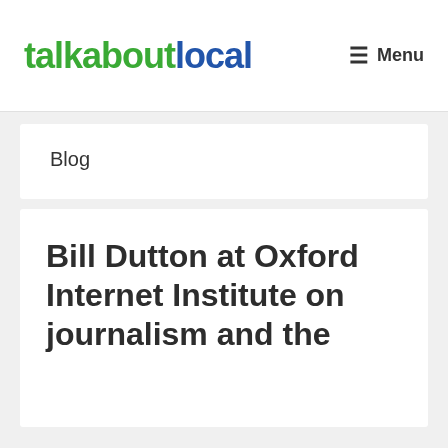talkaboutlocal  Menu
Blog
Bill Dutton at Oxford Internet Institute on journalism and the fifth...